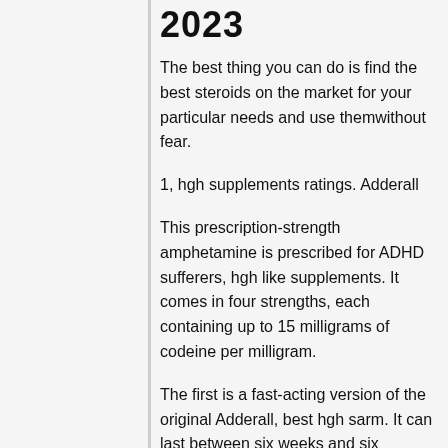2023
The best thing you can do is find the best steroids on the market for your particular needs and use themwithout fear.
1, hgh supplements ratings. Adderall
This prescription-strength amphetamine is prescribed for ADHD sufferers, hgh like supplements. It comes in four strengths, each containing up to 15 milligrams of codeine per milligram.
The first is a fast-acting version of the original Adderall, best hgh sarm. It can last between six weeks and six months, depending on the dosage, best hgh sarm. The second one, which is usually used if the patient does not take the original, is a gradual release version. The third is more of a slow-acting version, supplements containing hgh. It lasts between two and five